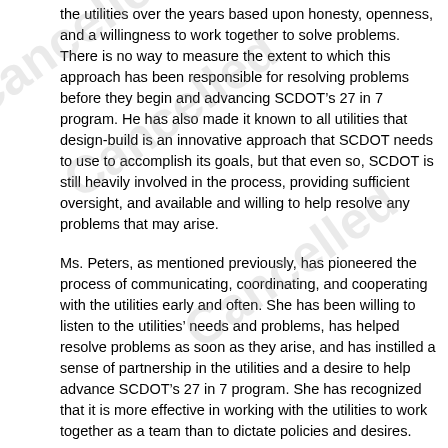the utilities over the years based upon honesty, openness, and a willingness to work together to solve problems. There is no way to measure the extent to which this approach has been responsible for resolving problems before they begin and advancing SCDOT’s 27 in 7 program. He has also made it known to all utilities that design-build is an innovative approach that SCDOT needs to use to accomplish its goals, but that even so, SCDOT is still heavily involved in the process, providing sufficient oversight, and available and willing to help resolve any problems that may arise.
Ms. Peters, as mentioned previously, has pioneered the process of communicating, coordinating, and cooperating with the utilities early and often. She has been willing to listen to the utilities’ needs and problems, has helped resolve problems as soon as they arise, and has instilled a sense of partnership in the utilities and a desire to help advance SCDOT’s 27 in 7 program. She has recognized that it is more effective in working with the utilities to work together as a team than to dictate policies and desires.
Sample Scope Of Work For Design-Build Utilities Work